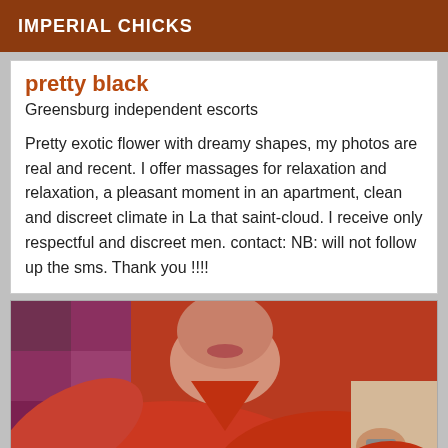IMPERIAL CHICKS
pretty black
Greensburg independent escorts
Pretty exotic flower with dreamy shapes, my photos are real and recent. I offer massages for relaxation and relaxation, a pleasant moment in an apartment, clean and discreet climate in La that saint-cloud. I receive only respectful and discreet men. contact: NB: will not follow up the sms. Thank you !!!!
[Figure (photo): Close-up photo of a woman wearing a red top, photographed from above, face partially visible.]